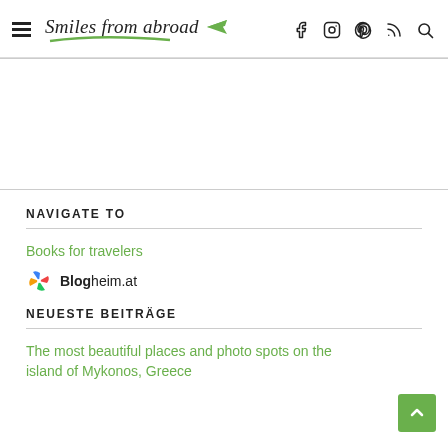Smiles from abroad — navigation icons: hamburger menu, facebook, instagram, pinterest, rss, search
NAVIGATE TO
Books for travelers
[Figure (logo): Blogheim.at logo with colorful pinwheel icon and bold text]
NEUESTE BEITRÄGE
The most beautiful places and photo spots on the island of Mykonos, Greece